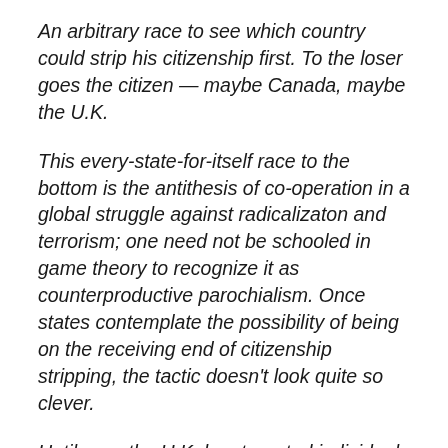An arbitrary race to see which country could strip his citizenship first. To the loser goes the citizen — maybe Canada, maybe the U.K.
This every-state-for-itself race to the bottom is the antithesis of co-operation in a global struggle against radicalizaton and terrorism; one need not be schooled in game theory to recognize it as counterproductive parochialism. Once states contemplate the possibility of being on the receiving end of citizenship stripping, the tactic doesn't look quite so clever.
Until now, the U.K. has targeted individuals whose other state of nationality lacked the resources or diplomatic heft to challenge the British practice under international law. Maybe it's time for Canada to step up, and to work with other countries, to pressure the U.K. and other states to